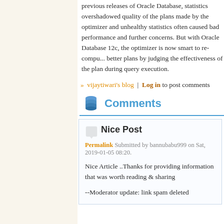previous releases of Oracle Database, statistics overshadowed quality of the plans made by the optimizer and unhealthy statistics often caused bad performance and further concerns. But with Oracle Database 12c, the optimizer is now smart to re-compute better plans by judging the effectiveness of the plan during query execution.
» vijaytiwari's blog | Log in to post comments
Comments
Nice Post
Permalink Submitted by bannubabu999 on Sat, 2019-01-05 08:20.
Nice Article ..Thanks for providing information that was worth reading & sharing
--Moderator update: link spam deleted